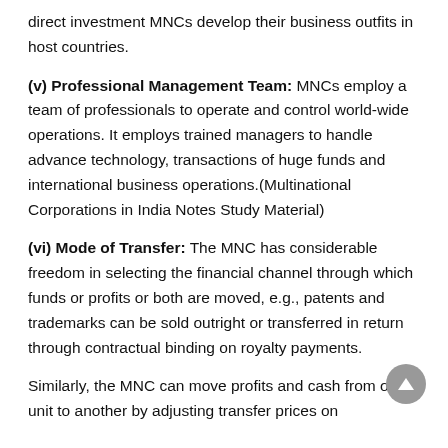direct investment MNCs develop their business outfits in host countries.
(v) Professional Management Team: MNCs employ a team of professionals to operate and control world-wide operations. It employs trained managers to handle advance technology, transactions of huge funds and international business operations.(Multinational Corporations in India Notes Study Material)
(vi) Mode of Transfer: The MNC has considerable freedom in selecting the financial channel through which funds or profits or both are moved, e.g., patents and trademarks can be sold outright or transferred in return through contractual binding on royalty payments.
Similarly, the MNC can move profits and cash from one unit to another by adjusting transfer prices on